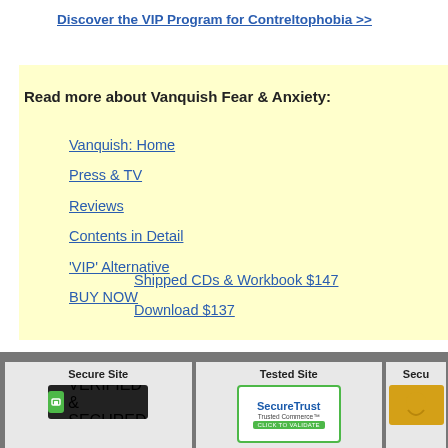Discover the VIP Program for Contreltophobia >>
Read more about Vanquish Fear & Anxiety:
Vanquish: Home
Press & TV
Reviews
Contents in Detail
'VIP' Alternative
BUY NOW
Shipped CDs & Workbook $147
Download $137
Secure Site
[Figure (logo): GoDaddy Verified & Secured badge]
Tested Site
[Figure (logo): SecureTrust Trusted Commerce badge]
Secu